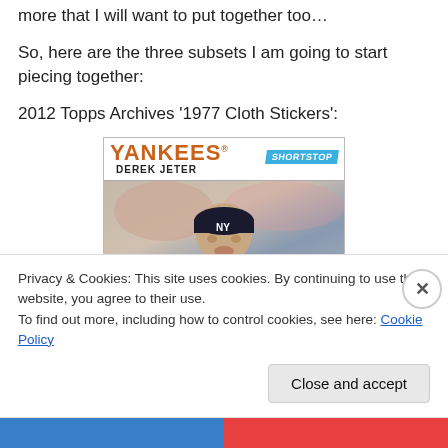more that I will want to put together too…
So, here are the three subsets I am going to start piecing together:
2012 Topps Archives '1977 Cloth Stickers':
[Figure (photo): Baseball card showing Derek Jeter as a New York Yankees shortstop. Card has orange YANKEES text, a blue SHORTSTOP banner, and a photo of Derek Jeter in a Yankees cap.]
Privacy & Cookies: This site uses cookies. By continuing to use this website, you agree to their use.
To find out more, including how to control cookies, see here: Cookie Policy
Close and accept